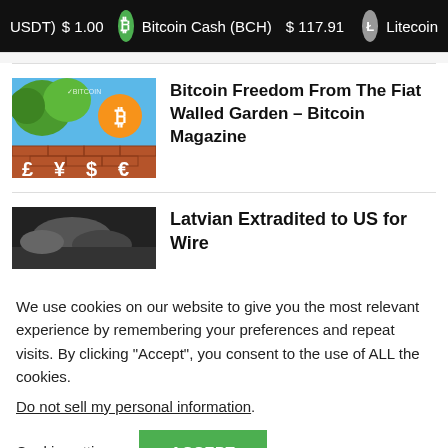USDT) $1.00  Bitcoin Cash (BCH)  $117.91  Litecoin
[Figure (illustration): Cryptocurrency news article thumbnail: cartoon illustration with trees, orange Bitcoin logo, brick wall, and fiat currency symbols (£ ¥ $ €)]
Bitcoin Freedom From The Fiat Walled Garden – Bitcoin Magazine
[Figure (photo): Dark photograph showing hands, related to Latvian extradition article]
Latvian Extradited to US for Wire
We use cookies on our website to give you the most relevant experience by remembering your preferences and repeat visits. By clicking "Accept", you consent to the use of ALL the cookies.
Do not sell my personal information.
Cookie settings  ACCEPT